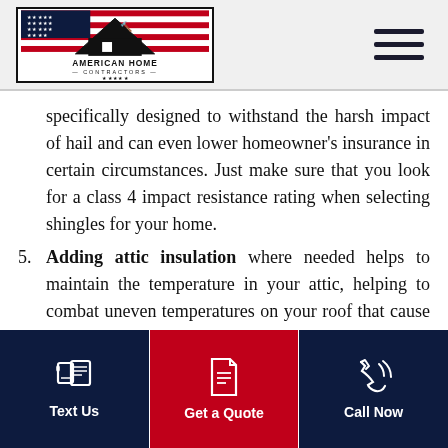[Figure (logo): American Home Contractors logo with American flag and house silhouette]
specifically designed to withstand the harsh impact of hail and can even lower homeowner's insurance in certain circumstances. Just make sure that you look for a class 4 impact resistance rating when selecting shingles for your home.
5. Adding attic insulation where needed helps to maintain the temperature in your attic, helping to combat uneven temperatures on your roof that cause the freeze and thaw cycle.
Text Us | Get a Quote | Call Now